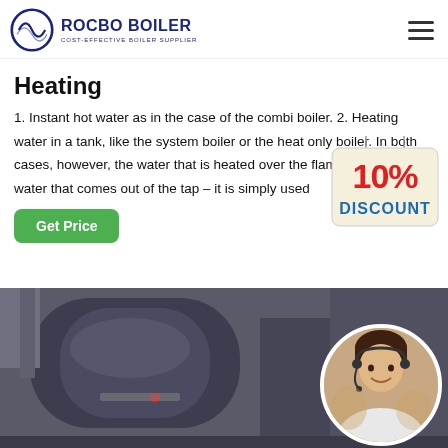[Figure (logo): Rocbo Boiler logo with circular wave icon and text 'ROCBO BOILER / COST-EFFECTIVE BOILER SUPPLIER']
Heating
1. Instant hot water as in the case of the combi boiler. 2. Heating water in a tank, like the system boiler or the heat only boiler. In both cases, however, the water that is heated over the flame is not the water that comes out of the tap – it is simply used f…
[Figure (illustration): 10% Discount badge/sticker graphic]
[Figure (photo): Industrial boiler equipment photo with a customer service agent in a circular overlay on the right side]